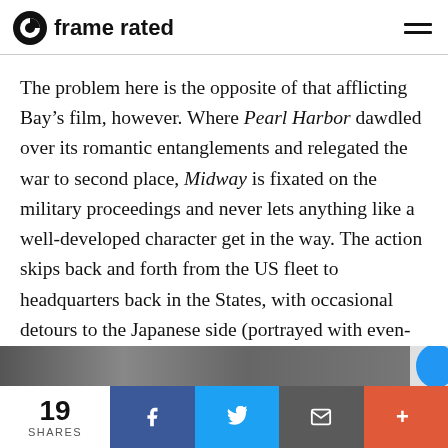frame rated
The problem here is the opposite of that afflicting Bay’s film, however. Where Pearl Harbor dawdled over its romantic entanglements and relegated the war to second place, Midway is fixated on the military proceedings and never lets anything like a well-developed character get in the way. The action skips back and forth from the US fleet to headquarters back in the States, with occasional detours to the Japanese side (portrayed with even-handedness) but little intrusion from the civilian world.
19 SHARES | Facebook | Twitter | Email | More